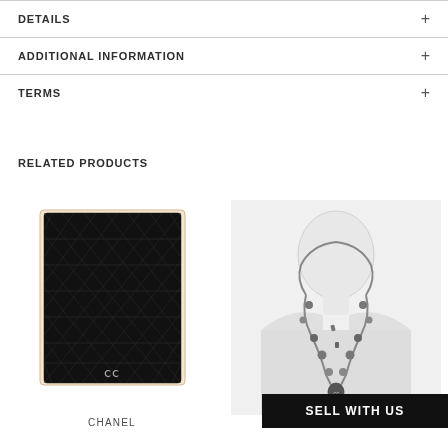DETAILS
ADDITIONAL INFORMATION
TERMS
RELATED PRODUCTS
[Figure (photo): Chanel black quilted caviar leather wallet/card holder with CC logo]
CHANEL
[Figure (photo): Silver/gunmetal statement necklace with charms displayed on white mannequin bust]
SELL WITH US